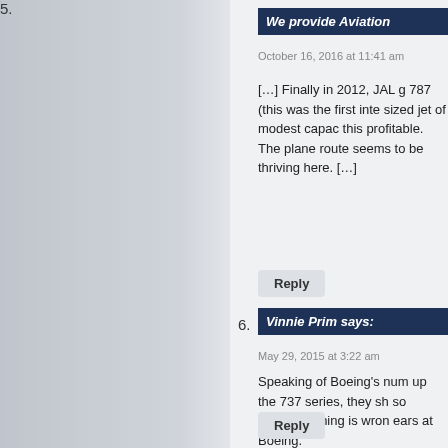5. We provide Aviation
October 16, 2016 at 11:41 am
[…] Finally in 2012, JAL g 787 (this was the first inte sized jet of modest capac this profitable. The plane route seems to be thriving here. […]
6. Vinnie Prim says:
May 29, 2015 at 3:22 am
Speaking of Boeing's num up the 737 series, they sh so similar, nothing is wron ears at Boeing.